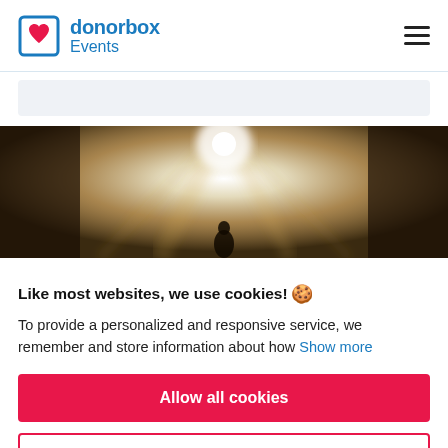donorbox Events
[Figure (illustration): Blurred concert/event scene with bright stage light in the center and silhouette of performer]
Like most websites, we use cookies! 🍪
To provide a personalized and responsive service, we remember and store information about how  Show more
Allow all cookies
Use only necessary cookies
More options ▾